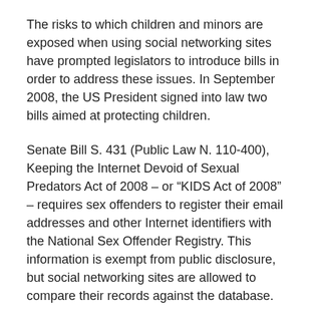The risks to which children and minors are exposed when using social networking sites have prompted legislators to introduce bills in order to address these issues. In September 2008, the US President signed into law two bills aimed at protecting children.
Senate Bill S. 431 (Public Law N. 110-400), Keeping the Internet Devoid of Sexual Predators Act of 2008 – or “KIDS Act of 2008” – requires sex offenders to register their email addresses and other Internet identifiers with the National Sex Offender Registry. This information is exempt from public disclosure, but social networking sites are allowed to compare their records against the database.
Senate Bill S.1738 (Public Law N. 110-401) “Providing Resources, Officers and Technology to Eradicate Cyber